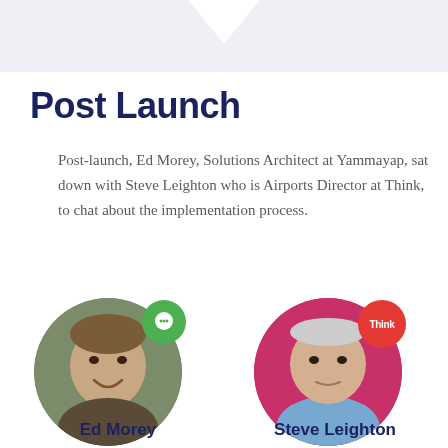[Figure (illustration): Light blue-grey banner at top of page with white chevron/arrow shape pointing downward from center top]
Post Launch
Post-launch, Ed Morey, Solutions Architect at Yammayap, sat down with Steve Leighton who is Airports Director at Think, to chat about the implementation process.
[Figure (photo): Circular portrait photo of Ed Morey, a man smiling, outdoors with trees in background. Green circular badge with chat bubble icon in top right of photo.]
[Figure (photo): Circular portrait photo of Steve Leighton, a man in a light blue shirt against a pink/magenta background. Red circular badge with 'Think' text in top right of photo.]
Ed Morey
Steve Leighton